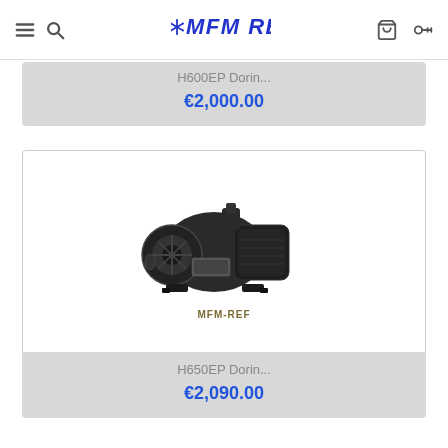MFM REF — navigation header with menu, search, basket, and key icons
H600EP Dorin...
€2,000.00
[Figure (photo): Industrial refrigeration compressor (Dorin H650EP model) photographed against a white background with MFM-REF watermark]
H650EP Dorin...
€2,090.00